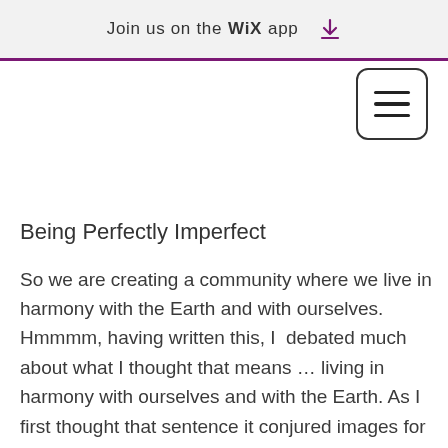Join us on the WiX app
[Figure (other): Hamburger menu button icon — three horizontal lines inside a rounded rectangle]
Being Perfectly Imperfect
So we are creating a community where we live in harmony with the Earth and with ourselves. Hmmmm, having written this, I  debated much about what I thought that means … living in harmony with ourselves and with the Earth. As I first thought that sentence it conjured images for me about living perfectly; living completely and utterly sustainably for example, or living in harmony with eachother; never arguing